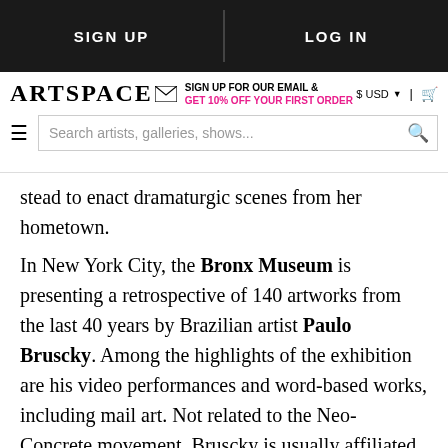SIGN UP | LOG IN
[Figure (screenshot): Artspace website navigation bar with logo, email signup promo, USD selector, and search bar]
stead to enact dramaturgic scenes from her hometown.
In New York City, the Bronx Museum is presenting a retrospective of 140 artworks from the last 40 years by Brazilian artist Paulo Bruscky. Among the highlights of the exhibition are his video performances and word-based works, including mail art. Not related to the Neo-Concrete movement, Bruscky is usually affiliated with Fluxus and recognized as one of the pioneers of performance art in Brazil.